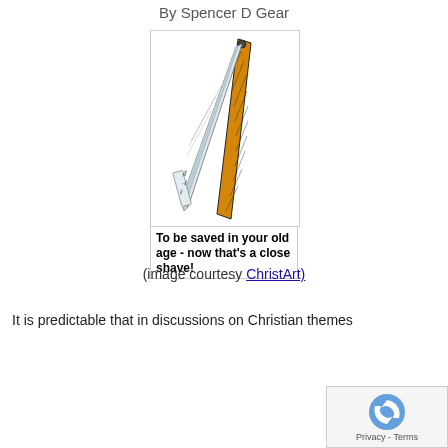By Spencer D Gear
[Figure (illustration): Illustration of an open straight razor with a yellow/orange handle. Below the illustration is bold text: 'To be saved in your old age - now that's a close shave!']
(image courtesy ChristArt)
It is predictable that in discussions on Christian themes